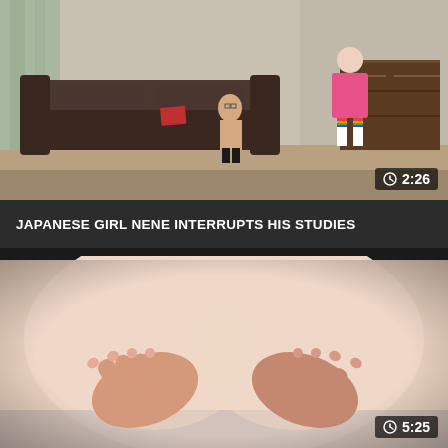[Figure (photo): Video thumbnail showing two people in a room with a dark leather couch and a dresser. Duration overlay showing 2:26.]
JAPANESE GIRL NENE INTERRUPTS HIS STUDIES
[Figure (photo): Video thumbnail close-up shot. Duration overlay showing 5:25.]